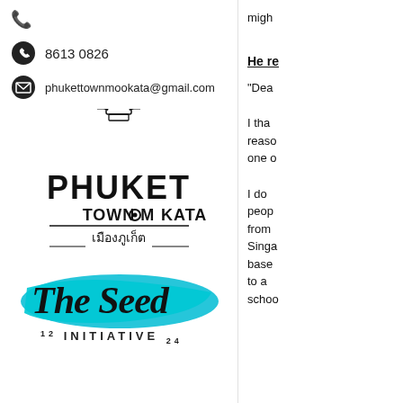8613 0826
phukettownmookata@gmail.com
[Figure (logo): Phuket Town Mookata logo with Thai temple spire above bold text reading PHUKET TOWN MOOKATA with Thai script below]
[Figure (logo): The Seed Initiative logo with cursive script on teal/cyan brushstroke background, with superscript 12 INITIATIVE subscript 24]
He re
"Dea
I tha reason one o
I do peop from Singa base to a schoo